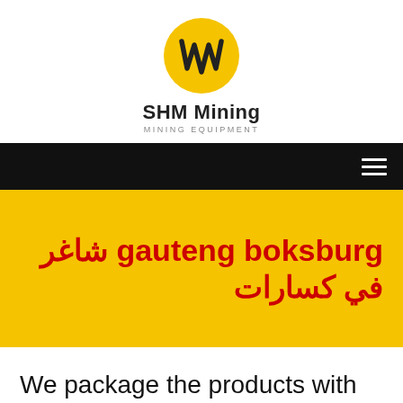[Figure (logo): SHM Mining logo: yellow oval with black geometric zigzag symbol on top, company name 'SHM Mining' in bold black below, subtitle 'MINING EQUIPMENT' in small grey letters]
[Figure (other): Black navigation bar with white hamburger menu icon (three horizontal lines) on the right side]
gauteng boksburg شاغر في كسارات
We package the products with best services to make you a happy